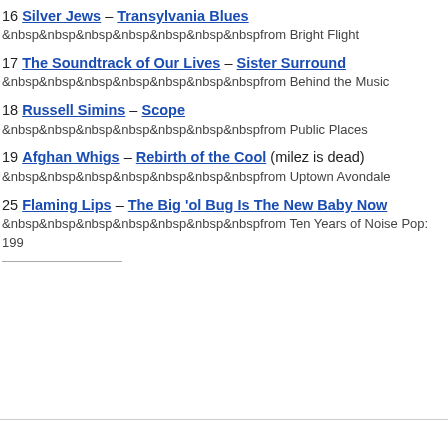16 Silver Jews – Transylvania Blues
&nbsp;&nbsp;&nbsp;&nbsp;&nbsp;&nbsp;&nbsp;from Bright Flight
17 The Soundtrack of Our Lives – Sister Surround
&nbsp;&nbsp;&nbsp;&nbsp;&nbsp;&nbsp;&nbsp;from Behind the Music
18 Russell Simins – Scope
&nbsp;&nbsp;&nbsp;&nbsp;&nbsp;&nbsp;&nbsp;from Public Places
19 Afghan Whigs – Rebirth of the Cool (milez is dead)
&nbsp;&nbsp;&nbsp;&nbsp;&nbsp;&nbsp;&nbsp;from Uptown Avondale
25 Flaming Lips – The Big 'ol Bug Is The New Baby Now
&nbsp;&nbsp;&nbsp;&nbsp;&nbsp;&nbsp;&nbsp;from Ten Years of Noise Pop: 199...